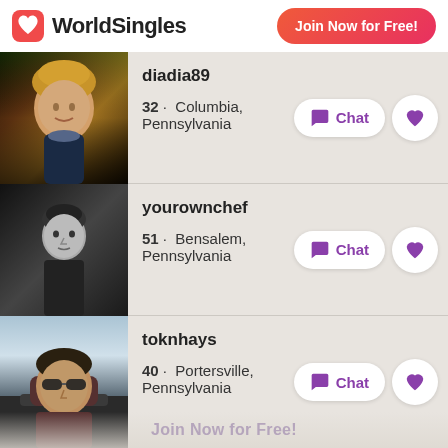WorldSingles
Join Now for Free!
[Figure (photo): Profile photo of diadia89, a young man with blond hair in a bar setting]
diadia89
32 · Columbia, Pennsylvania
[Figure (photo): Profile photo of yourownchef, a man in black and white photo]
yourownchef
51 · Bensalem, Pennsylvania
[Figure (photo): Profile photo of toknhays, a man wearing sunglasses in a car]
toknhays
40 · Portersville, Pennsylvania
Join Now for Free!